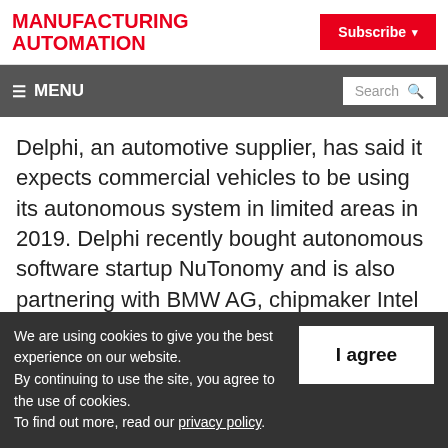MANUFACTURING AUTOMATION
Subscribe
≡ MENU | Search
Delphi, an automotive supplier, has said it expects commercial vehicles to be using its autonomous system in limited areas in 2019. Delphi recently bought autonomous software startup NuTonomy and is also partnering with BMW AG, chipmaker Intel Corp. and camera
We are using cookies to give you the best experience on our website.
By continuing to use the site, you agree to the use of cookies.
To find out more, read our privacy policy.